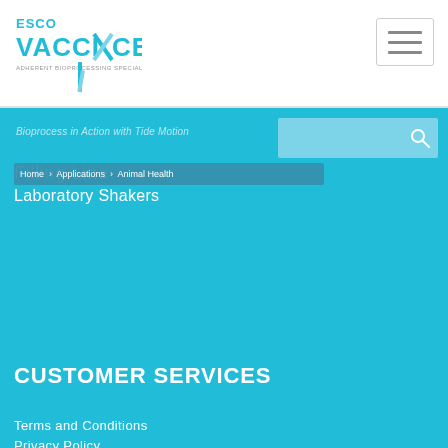Esco VacciXcell - Adherent Bioprocessing Specialist
Bioprocess in Action with Tide Motion
Home > Applications > Animal Health
Filling Line
Laboratory Shakers
CUSTOMER SERVICES
Terms and Conditions
Privacy Policy
Conditions Of Supply
© Copyright Esco VacciXcell. All Rights Reserved.